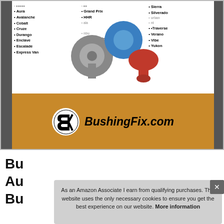[Figure (photo): Product image showing vehicle compatibility list and bushing components (gray, blue, red) on white background, with BushingFix.com logo on orange background below. Vehicle names listed include Aura, Avalanche, Cobalt, Cruze, Durango, Enclave, Escalade, Express Van, Grand Prix, HHR, Malibu, Malibu, Malibu Mabu, Monte Carlo, Outlook, Ram, Sierra, Silverado, Suburban, Accent, Traverse, Verano, Vibe, Yukon.]
Bushing Fix M4KIT1... Bu... Au... Bu...
As an Amazon Associate I earn from qualifying purchases. This website uses the only necessary cookies to ensure you get the best experience on our website. More information